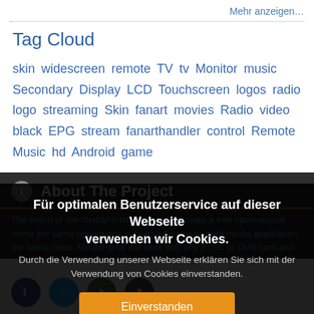Mehr anzeigen…
Tag Cloud
skin widescreen remote TV tv Monitor music Secondary Display LCD Touchscreen logos radio logo streaming Skin fanart movies Radio video black EPG stream fanarthandler control Remote Music hd Android game
About The Project
The vision of the MediaPortal project is to create a free open-source
Für optimalen Benutzerservice auf dieser Webseite verwenden wir Cookies.
Durch die Verwendung unserer Webseite erklären Sie sich mit der Verwendung von Cookies einverstanden.
Einverstanden